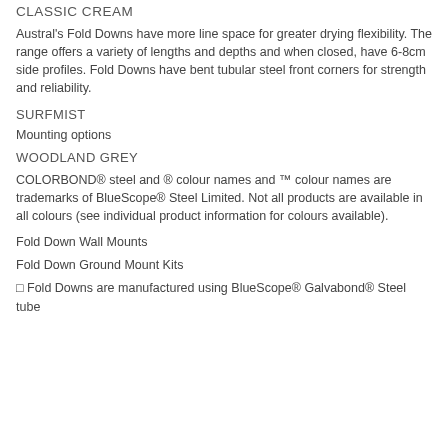CLASSIC CREAM
Austral's Fold Downs have more line space for greater drying flexibility. The range offers a variety of lengths and depths and when closed, have 6-8cm side profiles. Fold Downs have bent tubular steel front corners for strength and reliability.
SURFMIST
Mounting options
WOODLAND GREY
COLORBOND® steel and ® colour names and ™ colour names are trademarks of BlueScope® Steel Limited. Not all products are available in all colours (see individual product information for colours available).
Fold Down Wall Mounts
Fold Down Ground Mount Kits
□ Fold Downs are manufactured using BlueScope® Galvabond® Steel tube